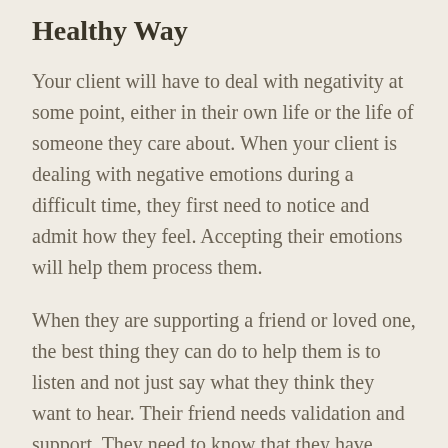Healthy Way
Your client will have to deal with negativity at some point, either in their own life or the life of someone they care about. When your client is dealing with negative emotions during a difficult time, they first need to notice and admit how they feel. Accepting their emotions will help them process them.
When they are supporting a friend or loved one, the best thing they can do to help them is to listen and not just say what they think they want to hear. Their friend needs validation and support. They need to know that they have